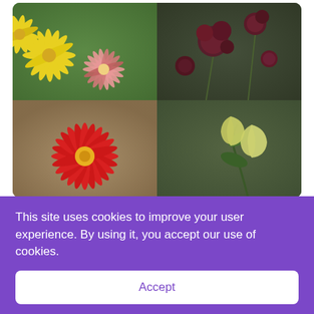[Figure (photo): 2x2 grid of flower photographs: top-left shows yellow daisy-like flowers and a pink gerbera on green background; top-right shows dark crimson/burgundy fluffy flowers; bottom-left shows a red gerbera daisy on a tan/brown background; bottom-right shows pale yellow bell-shaped flowers on green background.]
[Figure (photo): Partial view of two flower photos side by side: left shows a purple/lavender orchid-like flower, right shows blue and yellow flowers.]
This site uses cookies to improve your user experience. By using it, you accept our use of cookies.
Accept